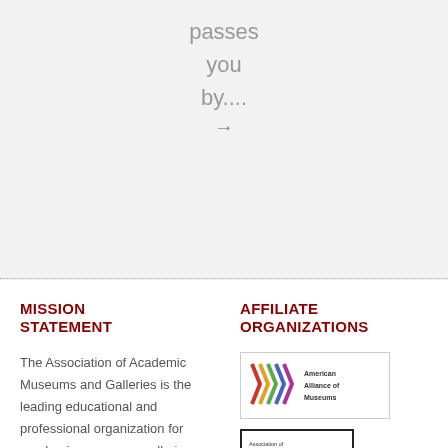passes you by....
→
MISSION STATEMENT
The Association of Academic Museums and Galleries is the leading educational and professional organization for academic museums, galleries, and collections. In recognition of the unique opportunities and challenges of its constituents, the AAMG ...
AFFILIATE ORGANIZATIONS
[Figure (logo): American Alliance of Museums logo with colorful zigzag pattern]
[Figure (logo): Association of Art Museum Directors logo, black and white]
[Figure (logo): ASTC Association of Science-Technology Centers logo with orange swoosh]
[Figure (logo): CAA Advancing Art & Design logo, purple and green]